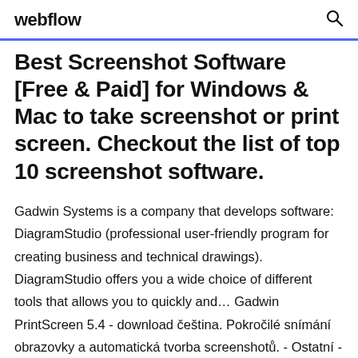webflow
Best Screenshot Software [Free & Paid] for Windows & Mac to take screenshot or print screen. Checkout the list of top 10 screenshot software.
Gadwin Systems is a company that develops software: DiagramStudio (professional user-friendly program for creating business and technical drawings). DiagramStudio offers you a wide choice of different tools that allows you to quickly and... Gadwin PrintScreen 5.4 - download čeština. Pokročilé snímání obrazovky a automatická tvorba screenshotů. - Ostatní - Download freeware a shareware zdarma -